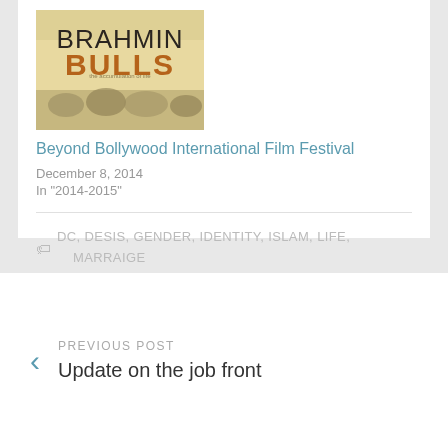[Figure (illustration): Movie poster for 'Brahmin Bulls' with dark text on a yellowish/beige background showing figures]
Beyond Bollywood International Film Festival
December 8, 2014
In "2014-2015"
DC, DESIS, GENDER, IDENTITY, ISLAM, LIFE, MARRAIGE
PREVIOUS POST
Update on the job front